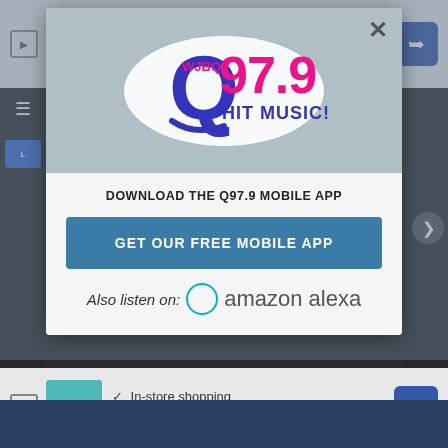[Figure (screenshot): Top advertisement banner with teal thumbnail, checkmarks for In-store shopping and In-store pickup, X for Delivery, and blue navigation arrow icon]
[Figure (logo): WJBQ Q97.9 Hit Music! radio station logo in blue and pink/magenta colors]
DOWNLOAD THE Q97.9 MOBILE APP
GET OUR FREE MOBILE APP
Also listen on:  amazon alexa
[Figure (screenshot): Bottom advertisement banner with teal thumbnail, checkmarks for In-store shopping and In-store pickup, X for Delivery, and blue navigation arrow icon]